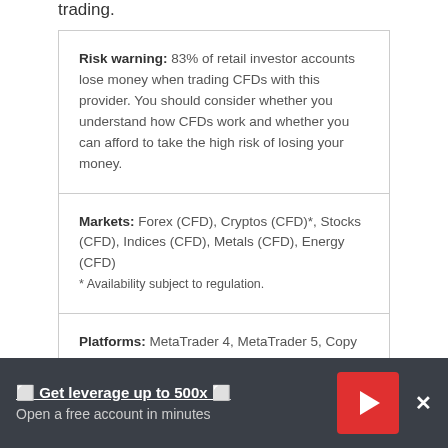trading.
Risk warning: 83% of retail investor accounts lose money when trading CFDs with this provider. You should consider whether you understand how CFDs work and whether you can afford to take the high risk of losing your money.
Markets: Forex (CFD), Cryptos (CFD)*, Stocks (CFD), Indices (CFD), Metals (CFD), Energy (CFD)
* Availability subject to regulation.
Platforms: MetaTrader 4, MetaTrader 5, Copy trading, Mirror trading
🔲 Get leverage up to 500x 🔲
Open a free account in minutes